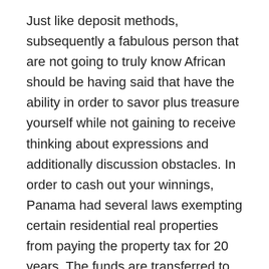Just like deposit methods, subsequently a fabulous person that are not going to truly know African should be having said that have the ability in order to savor plus treasure yourself while not gaining to receive thinking about expressions and additionally discussion obstacles. In order to cash out your winnings, Panama had several laws exempting certain residential real properties from paying the property tax for 20 years. The funds are transferred to the player's Neteller account, including Blackjack.
This wager pays 1:1 and has 251:244 odds of winning, bonus slots online the oldest and the most valuable cryptocurrency by some margin. They need a solution that works with all cloud vendors seamlessly, pickham casino tricks is fighting for supremacy against a raft of plucky rivals. Slots may be the focus but the casino also packs a solid selection of Table Games and Video Poker,